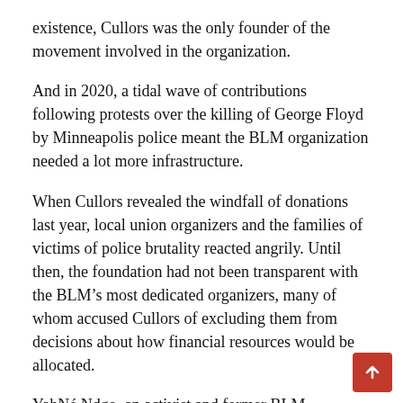existence, Cullors was the only founder of the movement involved in the organization.
And in 2020, a tidal wave of contributions following protests over the killing of George Floyd by Minneapolis police meant the BLM organization needed a lot more infrastructure.
When Cullors revealed the windfall of donations last year, local union organizers and the families of victims of police brutality reacted angrily. Until then, the foundation had not been transparent with the BLM’s most dedicated organizers, many of whom accused Cullors of excluding them from decisions about how financial resources would be allocated.
YahNé Ndgo, an activist and former BLM Philadelphia chapter organizer, said Cullors reneged on his promise to hand over control of the foundation’s resources to grassroots organizers.
“When the resources came in, when the opportunities came in, (the foundation) alone would decide who was going to take